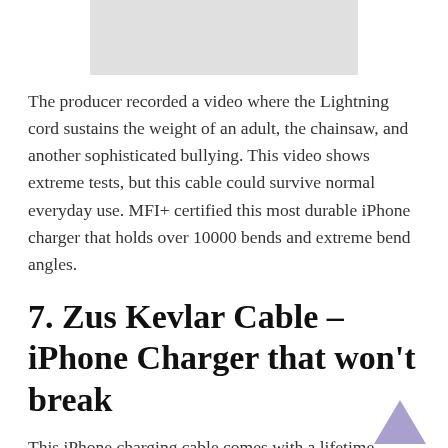[Figure (photo): Partial image at top of page, showing a light gray background, cropped product photo]
The producer recorded a video where the Lightning cord sustains the weight of an adult, the chainsaw, and another sophisticated bullying. This video shows extreme tests, but this cable could survive normal everyday use. MFI+ certified this most durable iPhone charger that holds over 10000 bends and extreme bend angles.
7. Zus Kevlar Cable – iPhone Charger that won't break
This iPhone charging cable comes with a lifetime warranty, so Zus company does not worry about the longevity of its products. The cord is protected against accidental splitting